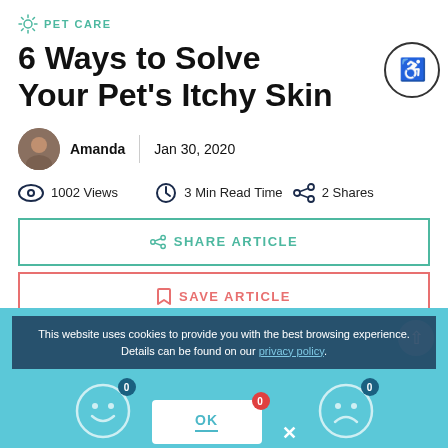PET CARE
6 Ways to Solve Your Pet's Itchy Skin
Amanda | Jan 30, 2020
1002 Views   3 Min Read Time   2 Shares
SHARE ARTICLE
SAVE ARTICLE
This website uses cookies to provide you with the best browsing experience. Details can be found on our privacy policy.
OK